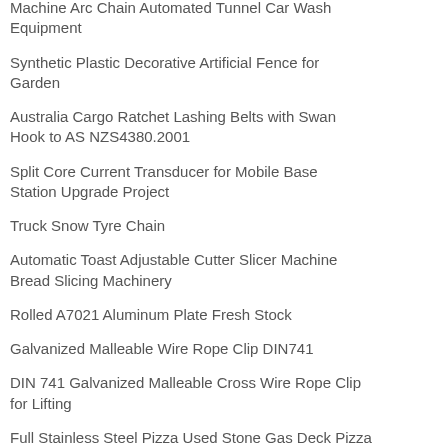Machine Arc Chain Automated Tunnel Car Wash Equipment
Synthetic Plastic Decorative Artificial Fence for Garden
Australia Cargo Ratchet Lashing Belts with Swan Hook to AS NZS4380.2001
Split Core Current Transducer for Mobile Base Station Upgrade Project
Truck Snow Tyre Chain
Automatic Toast Adjustable Cutter Slicer Machine Bread Slicing Machinery
Rolled A7021 Aluminum Plate Fresh Stock
Galvanized Malleable Wire Rope Clip DIN741
DIN 741 Galvanized Malleable Cross Wire Rope Clip for Lifting
Full Stainless Steel Pizza Used Stone Gas Deck Pizza Oven in Bakery Equipment